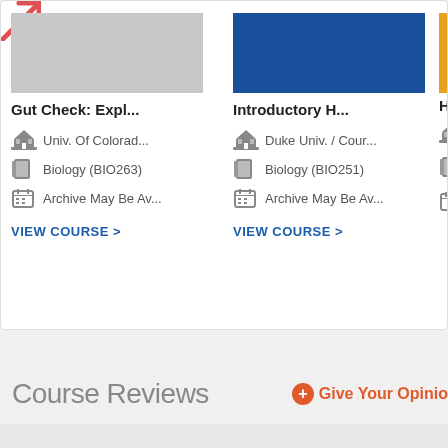[Figure (screenshot): Course listing cards showing two courses: 'Gut Check: Expl...' from Univ. Of Colorad... Biology (BIO263), Archive May Be Av...; and 'Introductory H...' from Duke Univ. / Cour..., Biology (BIO251), Archive May Be Av..., each with VIEW COURSE links. A partial third card is visible on the right edge.]
Course Reviews
+ Give Your Opinío